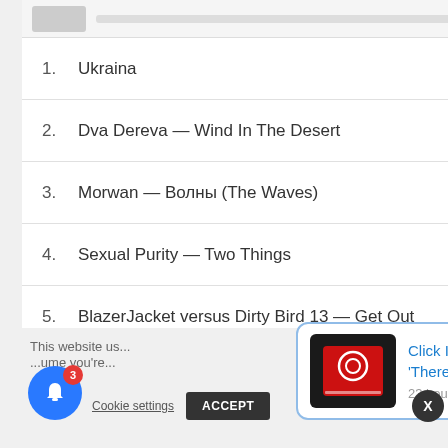1.  Ukraina  01:05
2.  Dva Dereva — Wind In The Desert  14:22
3.  Morwan — Волны (The Waves)  05:50
4.  Sexual Purity — Two Things  03:20
5.  BlazerJacket versus Dirty Bird 13 — Get Out  04:55
6.  Ginger Snap5 — Ghosty (Version)  03:10
7.  Dirty Bird 13 — We Will Fight  03:49
8.  Incomer — Humory  04:18
9.  Lybid_1 — Tatata  04:02
10.  Surface — Tinnee  03:4?
This website us... ...ume you're ...
[Figure (screenshot): Website notification popup showing 'Click Interview with First Aid 4 Souls: There Is' with thumbnail, 23 hours ago, and a blue bell notification icon with badge 3.]